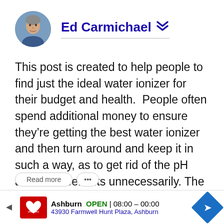[Figure (photo): Circular profile photo of Ed Carmichael, a man with light features]
Ed Carmichael
This post is created to help people to find just the ideal water ionizer for their budget and health.  People often spend additional money to ensure they're getting the best water ionizer and then turn around and keep it in such a way, as to get rid of the pH and ORP benefits unnecessarily. The Incorrect […]
[Figure (infographic): Advertisement bar: CVS Pharmacy logo, Ashburn OPEN 08:00–00:00, 43930 Farmwell Hunt Plaza, Ashburn, with navigation arrow icon]